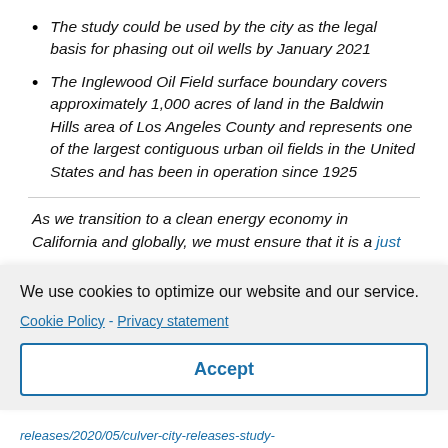The study could be used by the city as the legal basis for phasing out oil wells by January 2021
The Inglewood Oil Field surface boundary covers approximately 1,000 acres of land in the Baldwin Hills area of Los Angeles County and represents one of the largest contiguous urban oil fields in the United States and has been in operation since 1925
As we transition to a clean energy economy in California and globally, we must ensure that it is a just
We use cookies to optimize our website and our service. Cookie Policy - Privacy statement
Accept
releases/2020/05/culver-city-releases-study-